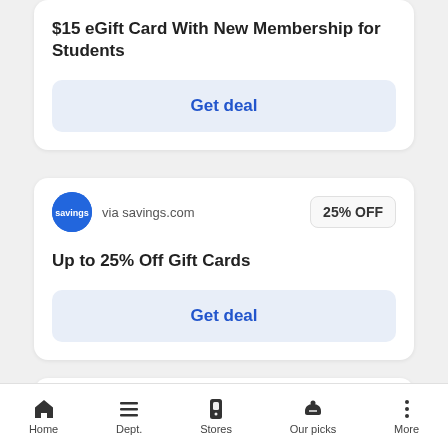$15 eGift Card With New Membership for Students
Get deal
via savings.com
25% OFF
Up to 25% Off Gift Cards
Get deal
See more popular coupons
Home  Dept.  Stores  Our picks  More